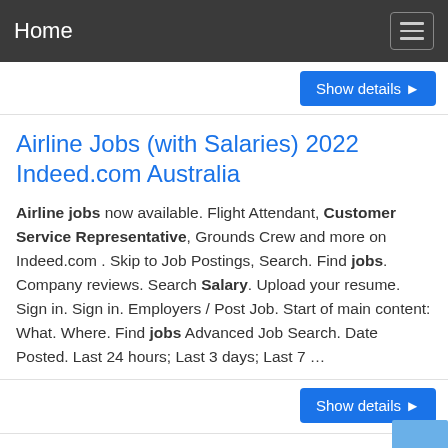Home
Show details ▶
Airline Jobs (with Salaries) 2022 Indeed.com Australia
Airline jobs now available. Flight Attendant, Customer Service Representative, Grounds Crew and more on Indeed.com . Skip to Job Postings, Search. Find jobs. Company reviews. Search Salary. Upload your resume. Sign in. Sign in. Employers / Post Job. Start of main content: What. Where. Find jobs Advanced Job Search. Date Posted. Last 24 hours; Last 3 days; Last 7 …
Show details ▶
Airline Customer Service Agents